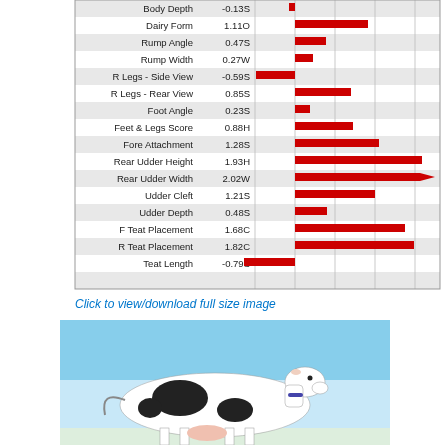[Figure (bar-chart): Linear Type Traits]
Click to view/download full size image
[Figure (photo): A black and white Holstein dairy cow standing in profile against a blue sky background.]